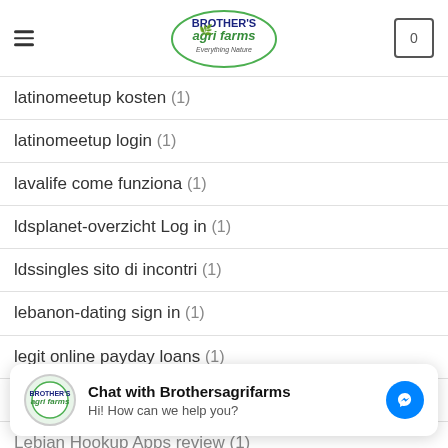Brother's Agri Farms - Everything Nature
latinomeetup kosten (1)
latinomeetup login (1)
lavalife come funziona (1)
ldsplanet-overzicht Log in (1)
ldssingles sito di incontri (1)
lebanon-dating sign in (1)
legit online payday loans (1)
legit payday loans (2)
Lesbian Hookup Apps review (1)